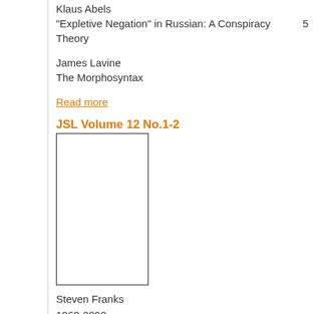Klaus Abels
"Expletive Negation" in Russian: A Conspiracy Theory    5
James Lavine
The Morphosyntax
Read more
JSL Volume 12 No.1-2
[Figure (illustration): Book cover image — white/blank rectangle with black border representing JSL Volume 12 No.1-2]
Steven Franks
1068-2090
2004
Paperback
Contents